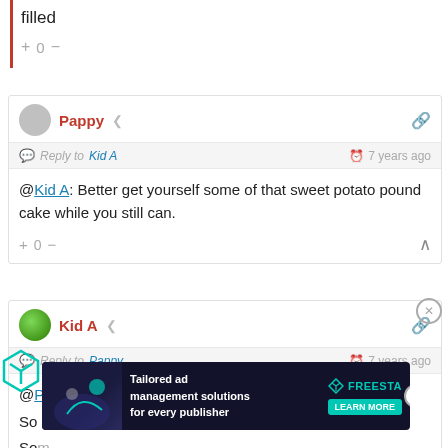filled
+ 0 −
Pappy  Reply to Kid A  7 years ago  @Kid A: Better get yourself some of that sweet potato pound cake while you still can.  + 0 −
Kid A  Reply to Pappy  7 years ago  @Pappy:  So ... er up in  So...
[Figure (screenshot): Advertisement banner: Tailored ad management solutions for every publisher — FREESTA with LEARN MORE button]